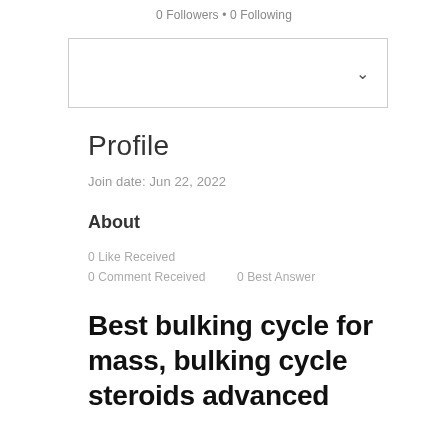0 Followers • 0 Following
[Figure (other): Dropdown/select box UI element with chevron arrow]
Profile
Join date: Jun 22, 2022
About
0 Like Received
0 Comment Received    0 Best Answer
Best bulking cycle for mass, bulking cycle steroids advanced